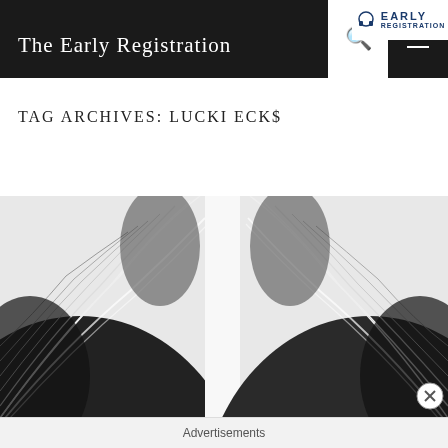The Early Registration
Tag Archives: lucki eck$
[Figure (photo): Black and white architectural photograph of a modern curved building with ribbed/striped exterior facade, showing two views mirrored side by side against a white sky]
Advertisements